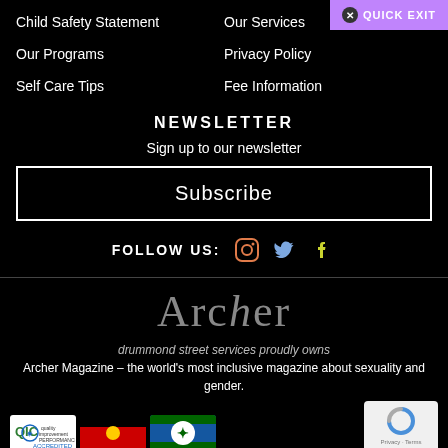Child Safety Statement
Our Services
Our Programs
Privacy Policy
Self Care Tips
Fee Information
NEWSLETTER
Sign up to our newsletter
Subscribe
FOLLOW US:
[Figure (logo): Archer magazine logo in grey serif font]
drummond street services proudly owns Archer Magazine – the world's most inclusive magazine about sexuality and gender.
[Figure (logo): QIC Accredited badge and Aboriginal/Torres Strait Islander flags badge]
[Figure (other): reCAPTCHA widget with Privacy and Terms]